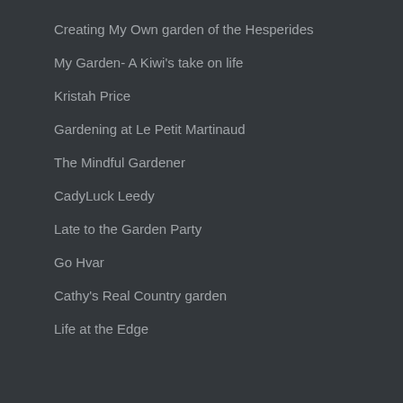Creating My Own garden of the Hesperides
My Garden- A Kiwi's take on life
Kristah Price
Gardening at Le Petit Martinaud
The Mindful Gardener
CadyLuck Leedy
Late to the Garden Party
Go Hvar
Cathy's Real Country garden
Life at the Edge